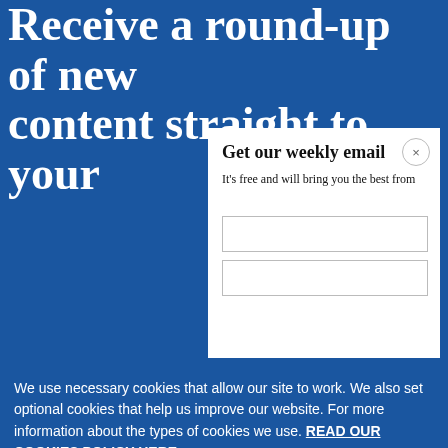Receive a round-up of new content straight to your
Get our weekly email
It's free and will bring you the best from
We use necessary cookies that allow our site to work. We also set optional cookies that help us improve our website. For more information about the types of cookies we use. READ OUR COOKIES POLICY HERE
COOKIE
ALLOW
S
data.
War in Ukraine, six months on
8 hours ago